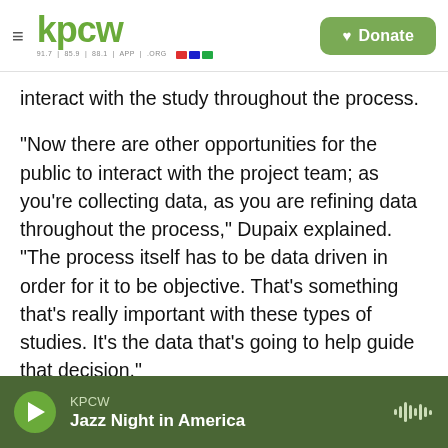KPCW — 91.7 | 85.9 | 88.1 | APP | .ORG | Donate
interact with the study throughout the process.
“Now there are other opportunities for the public to interact with the project team; as you're collecting data, as you are refining data throughout the process,” Dupaix explained. “The process itself has to be data driven in order for it to be objective. That’s something that’s really important with these types of studies. It’s the data that’s going to help guide that decision.”
During the planning study, which precedes the upcoming environmental impact study, UDOT
KPCW — Jazz Night in America